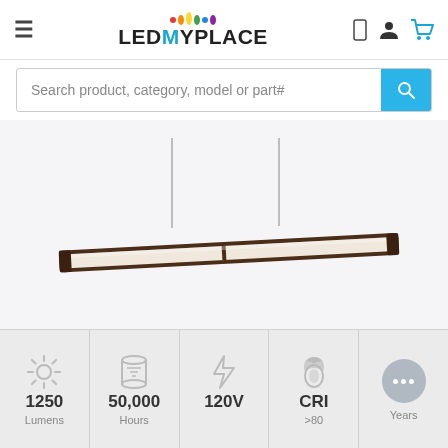LEDMyPlace
Search product, category, model or part#
[Figure (photo): A suspended LED linear pendant light fixture with dark bronze/oil-rubbed finish and frosted white diffuser panel, hanging from two thin cables against a light gray background.]
1250 Lumens
50,000 Hours
120V
CRI >80
Years